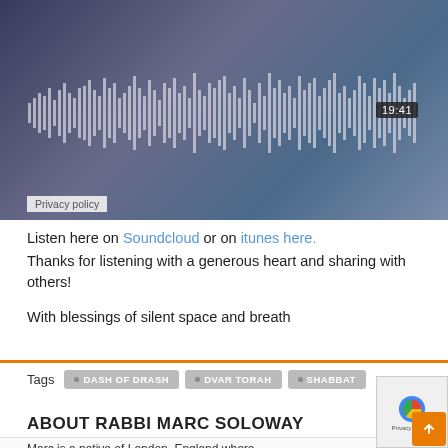[Figure (screenshot): Audio player embedded in webpage showing a person's photo in the background with a SoundCloud-style waveform overlay and a timer showing 19:41. A 'Privacy policy' label appears at the bottom left of the player.]
Listen here on Soundcloud or on itunes here.
Thanks for listening with a generous heart and sharing with others!
With blessings of silent space and breath
Tags  • DASH OF DRASH  • DVAR TORAH  • SHABBAT
ABOUT RABBI MARC SOLOWAY
Marc is a native of London, England where